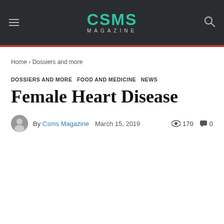CSMS MAGAZINE
Home › Dossiers and more
DOSSIERS AND MORE  FOOD AND MEDICINE  NEWS
Female Heart Disease
By Csms Magazine   March 15, 2019   170   0